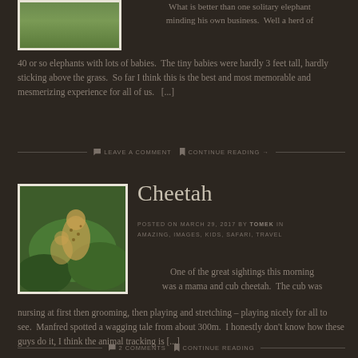[Figure (photo): Thumbnail photo of green grass landscape]
What is better than one solitary elephant minding his own business.  Well a herd of 40 or so elephants with lots of babies.  The tiny babies were hardly 3 feet tall, hardly sticking above the grass.  So far I think this is the best and most memorable and mesmerizing experience for all of us.   [...]
LEAVE A COMMENT   CONTINUE READING →
[Figure (photo): Photo of a cheetah and cub sitting in green grass]
Cheetah
POSTED ON MARCH 29, 2017 BY TOMEK IN AMAZING, IMAGES, KIDS, SAFARI, TRAVEL
One of the great sightings this morning was a mama and cub cheetah.  The cub was nursing at first then grooming, then playing and stretching – playing nicely for all to see.  Manfred spotted a wagging tale from about 300m.  I honestly don't know how these guys do it, I think the animal tracking is [...]
2 COMMENTS   CONTINUE READING